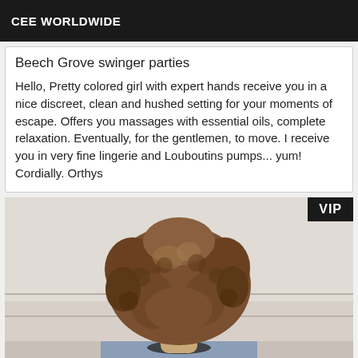CEE WORLDWIDE
Beech Grove swinger parties
Hello, Pretty colored girl with expert hands receive you in a nice discreet, clean and hushed setting for your moments of escape. Offers you massages with essential oils, complete relaxation. Eventually, for the gentlemen, to move. I receive you in very fine lingerie and Louboutins pumps... yum! Cordially. Orthys
[Figure (photo): Person with curly brown hair viewed from behind, wearing dark clothing, in a bathroom or tiled room setting. VIP badge in top right corner.]